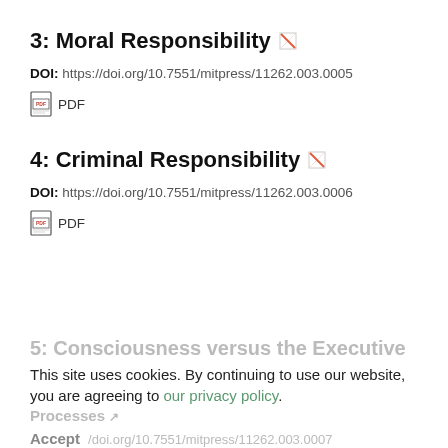3: Moral Responsibility
DOI: https://doi.org/10.7551/mitpress/11262.003.0005
PDF
4: Criminal Responsibility
DOI: https://doi.org/10.7551/mitpress/11262.003.0006
PDF
5: Consciousness versus the Executive Processes
This site uses cookies. By continuing to use our website, you are agreeing to our privacy policy. Accept